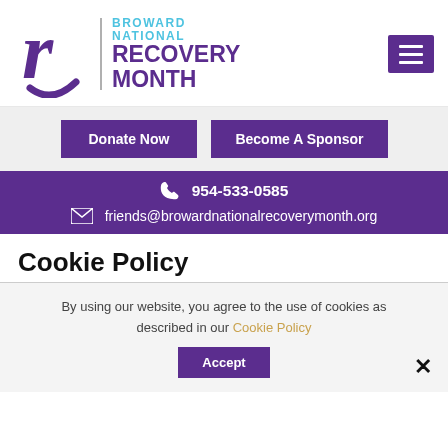[Figure (logo): Broward National Recovery Month logo with stylized purple 'r', vertical divider, and text 'BROWARD NATIONAL RECOVERY MONTH' in purple and teal]
[Figure (other): Purple hamburger/menu icon button in top right]
Donate Now
Become A Sponsor
954-533-0585
friends@browardnationalrecoverymonth.org
Cookie Policy
By using our website, you agree to the use of cookies as described in our Cookie Policy
Accept